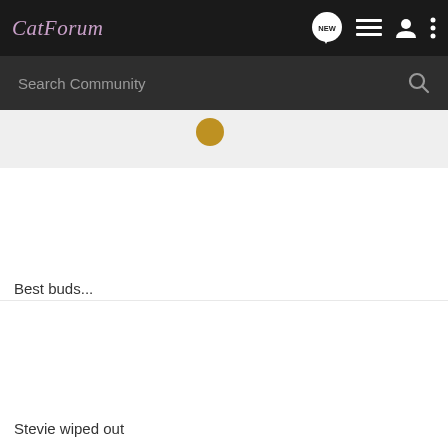CatForum
Search Community
[Figure (photo): Partial photo strip showing images, partially cropped at top]
Best buds...
[Figure (photo): Photo area below 'Best buds...' text, white/empty space]
Stevie wiped out